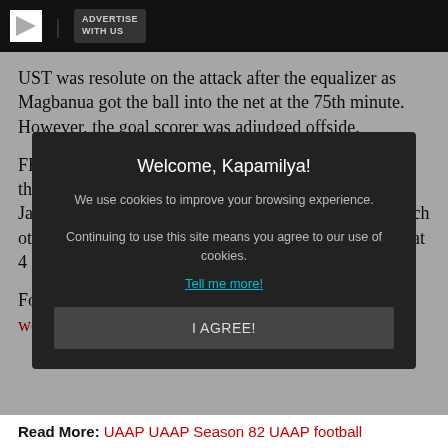ADVERTISE WITH US
UST was resolute on the attack after the equalizer as Magbanua got the ball into the net at the 75th minute. However, the goal scorer was adjudged offside.
FEU, who sits with nine points on three wins, stakes their record against Ateneo (6 pts, 2-0-1) on Sunday, January 26 at 1:30 pm. UST and La Salle will battle each other to claim the first spot in the league later that day at 4 pm.
For more sports coverage, visit the ABS-CBN Sports website.
[Figure (screenshot): Cookie consent modal overlay with title 'Welcome, Kapamilya!', text about cookies, a 'Tell me more!' link, and an 'I AGREE!' button.]
Read More: UAAP   UAAP Season 82   UAAP football